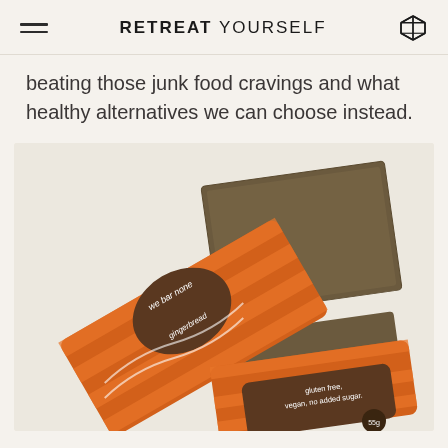RETREAT YOURSELF
beating those junk food cravings and what healthy alternatives we can choose instead.
[Figure (photo): A 'we bar none' gingerbread energy bar in orange and brown packaging, with the bar itself partially unwrapped showing a dense seeded/grained texture. The packaging reads 'we bar none', 'gingerbread', 'wholesome energy bar', 'gluten free, vegan, no added sugar', '55g'.]